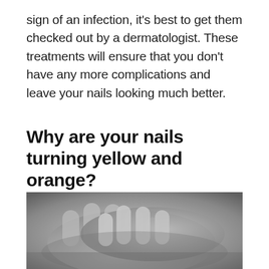sign of an infection, it's best to get them checked out by a dermatologist. These treatments will ensure that you don't have any more complications and leave your nails looking much better.
Why are your nails turning yellow and orange?
[Figure (photo): Black and white close-up photograph of two hands, showing fingers and nails, one hand resting on the other.]